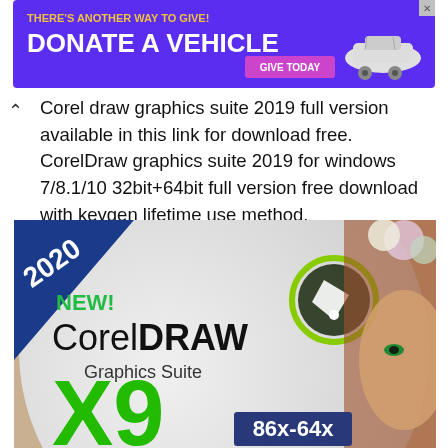[Figure (screenshot): Purple advertisement banner reading 'THERE'S ANOTHER WAY TO GIVE! DONATE A VEHICLE' with a pink 'GIVE TODAY' button and a car graphic on the right]
Corel draw graphics suite 2019 full version available in this link for download free. CorelDraw graphics suite 2019 for windows 7/8.1/10 32bit+64bit full version free download with keygen lifetime use method.
[Figure (screenshot): CorelDRAW Graphics Suite X9 product box art featuring '2020', 'NEW!', 'CorelDRAW Graphics Suite', 'X9', '86x-64x' text and an illustrated woman with flowers in her hair, with Corel logo icon]